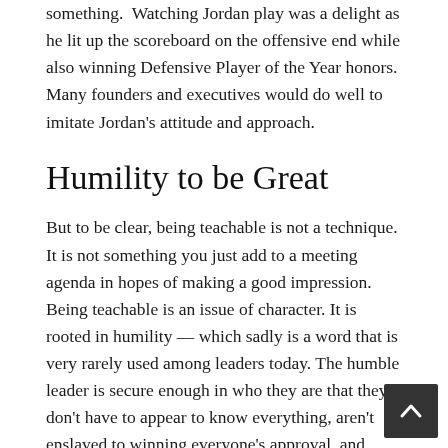something.  Watching Jordan play was a delight as he lit up the scoreboard on the offensive end while also winning Defensive Player of the Year honors. Many founders and executives would do well to imitate Jordan's attitude and approach.
Humility to be Great
But to be clear, being teachable is not a technique. It is not something you just add to a meeting agenda in hopes of making a good impression. Being teachable is an issue of character. It is rooted in humility — which sadly is a word that is very rarely used among leaders today. The humble leader is secure enough in who they are that they don't have to appear to know everything, aren't enslaved to winning everyone's approval, and aren't afraid of looking bad.